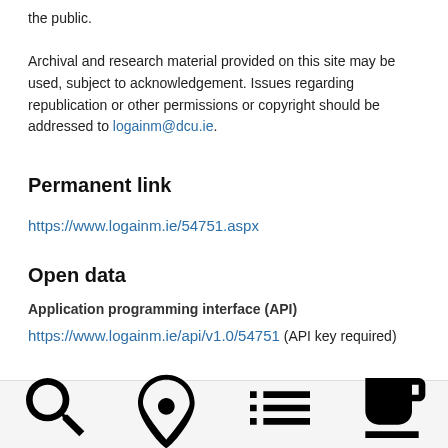the public. Archival and research material provided on this site may be used, subject to acknowledgement. Issues regarding republication or other permissions or copyright should be addressed to logainm@dcu.ie.
Permanent link
https://www.logainm.ie/54751.aspx
Open data
Application programming interface (API)
https://www.logainm.ie/api/v1.0/54751 (API key required)
Search   Browse   Glossary   Resources